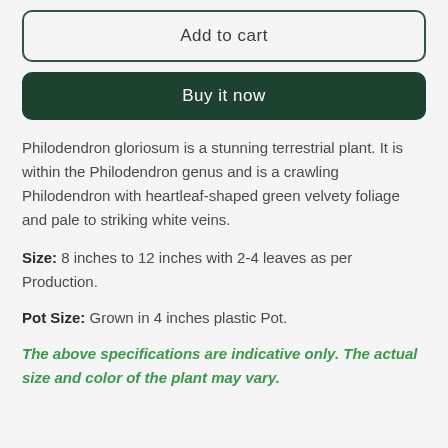Add to cart
Buy it now
Philodendron gloriosum is a stunning terrestrial plant. It is within the Philodendron genus and is a crawling Philodendron with heartleaf-shaped green velvety foliage and pale to striking white veins.
Size: 8 inches to 12 inches with 2-4 leaves as per Production.
Pot Size: Grown in 4 inches plastic Pot.
The above specifications are indicative only. The actual size and color of the plant may vary.